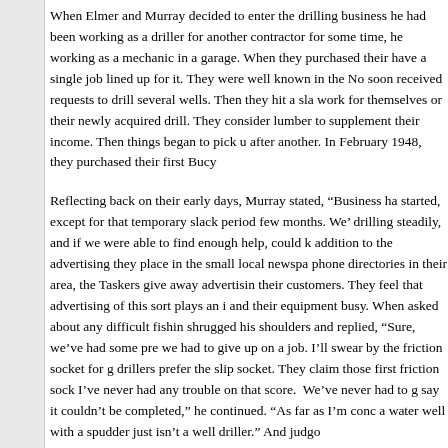When Elmer and Murray decided to enter the drilling business he had been working as a driller for another contractor for some time, he working as a mechanic in a garage. When they purchased their have a single job lined up for it. They were well known in the No soon received requests to drill several wells. Then they hit a sla work for themselves or their newly acquired drill. They consider lumber to supplement their income. Then things began to pick u after another. In February 1948, they purchased their first Bucy
Reflecting back on their early days, Murray stated, “Business ha started, except for that temporary slack period few months. We' drilling steadily, and if we were able to find enough help, could k addition to the advertising they place in the small local newspa phone directories in their area, the Taskers give away advertisin their customers. They feel that advertising of this sort plays an i and their equipment busy. When asked about any difficult fishin shrugged his shoulders and replied, “Sure, we’ve had some pre we had to give up on a job. I’ll swear by the friction socket for g drillers prefer the slip socket. They claim those first friction sock I’ve never had any trouble on that score.  We’ve never had to g say it couldn’t be completed,” he continued. “As far as I’m conc a water well with a spudder just isn’t a well driller.” And judgo